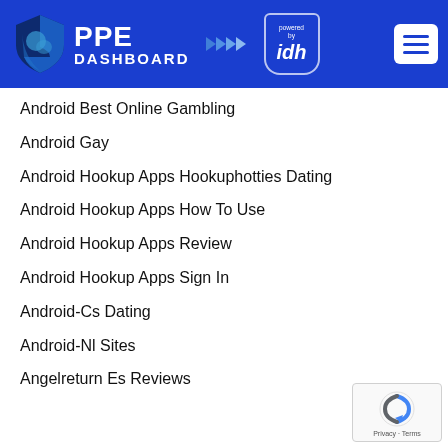[Figure (logo): PPE Dashboard logo with shield icon, arrows, and 'powered by idh' badge on a blue background header bar with hamburger menu button]
Android Best Online Gambling
Android Gay
Android Hookup Apps Hookuphotties Dating
Android Hookup Apps How To Use
Android Hookup Apps Review
Android Hookup Apps Sign In
Android-Cs Dating
Android-Nl Sites
Angelreturn Es Reviews